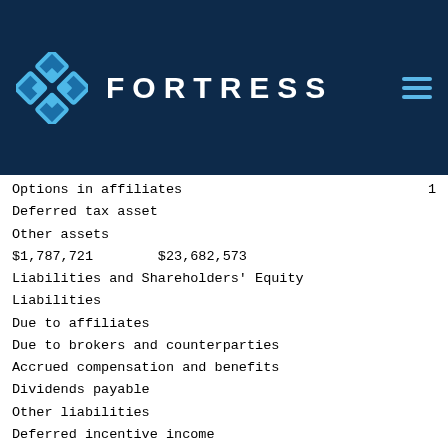FORTRESS
Options in affiliates    1
Deferred tax asset
Other assets
$1,787,721    $23,682,573
Liabilities and Shareholders' Equity
Liabilities
Due to affiliates
Due to brokers and counterparties
Accrued compensation and benefits
Dividends payable
Other liabilities
Deferred incentive income
Securities sold not yet purchased, at